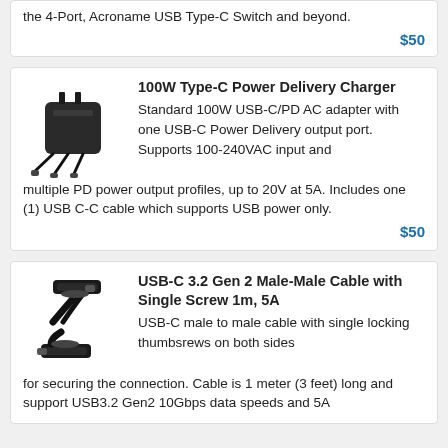the 4-Port, Acroname USB Type-C Switch and beyond.
$50
100W Type-C Power Delivery Charger
Standard 100W USB-C/PD AC adapter with one USB-C Power Delivery output port. Supports 100-240VAC input and multiple PD power output profiles, up to 20V at 5A. Includes one (1) USB C-C cable which supports USB power only.
$50
USB-C 3.2 Gen 2 Male-Male Cable with Single Screw 1m, 5A
USB-C male to male cable with single locking thumbsrews on both sides for securing the connection. Cable is 1 meter (3 feet) long and support USB3.2 Gen2 10Gbps data speeds and 5A
[Figure (photo): Black USB-C power charger adapter with cables]
[Figure (photo): Black USB-C male to male cable with locking thumbscrews]